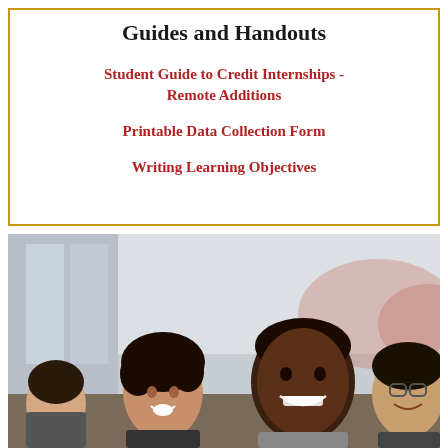Guides and Handouts
Student Guide to Credit Internships - Remote Additions
Printable Data Collection Form
Writing Learning Objectives
[Figure (photo): Group of smiling diverse young students looking at something together, indoor setting with large windows in background]